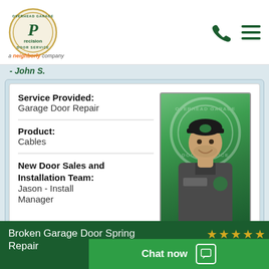[Figure (logo): Precision Door Service logo - circular emblem with overhead garage text]
Precision Door Service - a Neighborly company
- John S.
Service Provided: Garage Door Repair
Product: Cables
New Door Sales and Installation Team: Jason - Install Manager
[Figure (photo): Technician Jason wearing Precision Door Service uniform and cap, smiling, standing in front of Precision logo background]
Broken Garage Door Spring Repair
Chat now